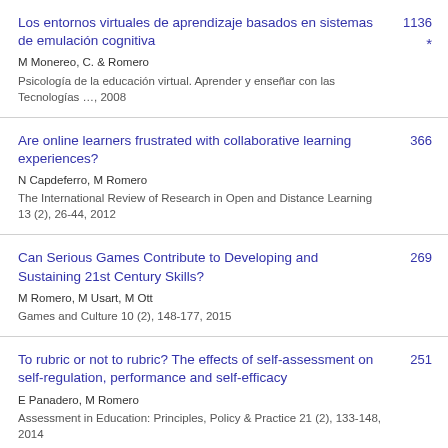Los entornos virtuales de aprendizaje basados en sistemas de emulación cognitiva — M Monereo, C. & Romero — Psicología de la educación virtual. Aprender y enseñar con las Tecnologías …, 2008 — 1136 *
Are online learners frustrated with collaborative learning experiences? — N Capdeferro, M Romero — The International Review of Research in Open and Distance Learning 13 (2), 26-44, 2012 — 366
Can Serious Games Contribute to Developing and Sustaining 21st Century Skills? — M Romero, M Usart, M Ott — Games and Culture 10 (2), 148-177, 2015 — 269
To rubric or not to rubric? The effects of self-assessment on self-regulation, performance and self-efficacy — E Panadero, M Romero — Assessment in Education: Principles, Policy & Practice 21 (2), 133-148, 2014 — 251